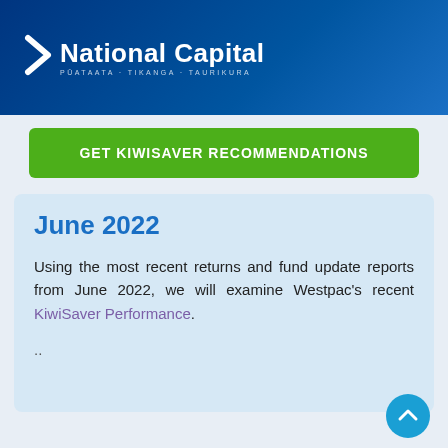National Capital — PŪATAATA · TIKANGA · TAURIKURA
GET KIWISAVER RECOMMENDATIONS
June 2022
Using the most recent returns and fund update reports from June 2022, we will examine Westpac's recent KiwiSaver Performance.
..